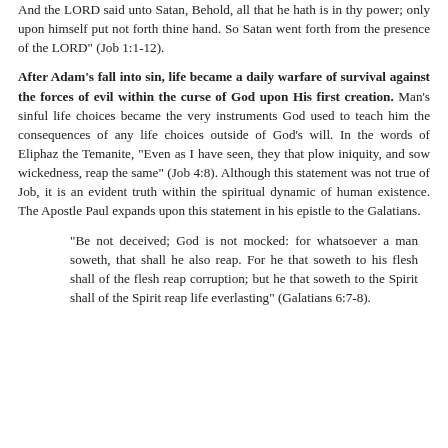And the LORD said unto Satan, Behold, all that he hath is in thy power; only upon himself put not forth thine hand. So Satan went forth from the presence of the LORD" (Job 1:1-12).
After Adam's fall into sin, life became a daily warfare of survival against the forces of evil within the curse of God upon His first creation. Man's sinful life choices became the very instruments God used to teach him the consequences of any life choices outside of God's will. In the words of Eliphaz the Temanite, “Even as I have seen, they that plow iniquity, and sow wickedness, reap the same” (Job 4:8). Although this statement was not true of Job, it is an evident truth within the spiritual dynamic of human existence. The Apostle Paul expands upon this statement in his epistle to the Galatians.
“Be not deceived; God is not mocked: for whatsoever a man soweth, that shall he also reap. For he that soweth to his flesh shall of the flesh reap corruption; but he that soweth to the Spirit shall of the Spirit reap life everlasting” (Galatians 6:7-8).